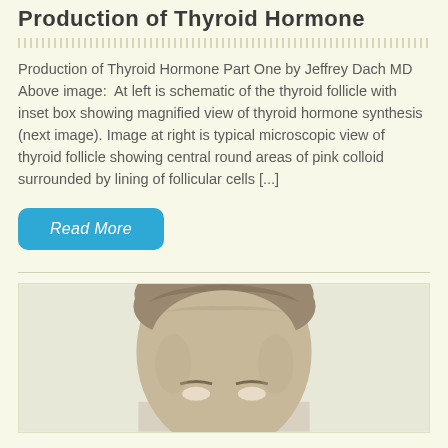Production of Thyroid Hormone
Production of Thyroid Hormone Part One by Jeffrey Dach MD Above image:  At left is schematic of the thyroid follicle with inset box showing magnified view of thyroid hormone synthesis (next image). Image at right is typical microscopic view of thyroid follicle showing central round areas of pink colloid surrounded by lining of follicular cells [...]
[Figure (photo): Headshot photo of a man (Jeffrey Dach MD), showing top of head and face, partially cropped at bottom]
Read More